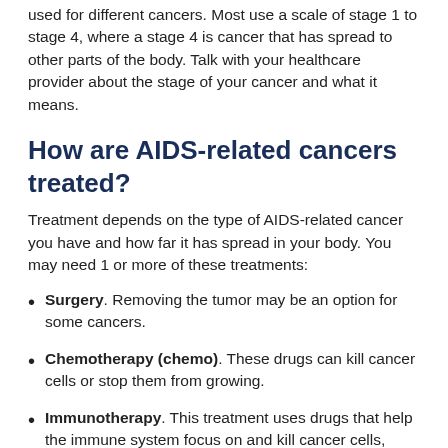used for different cancers. Most use a scale of stage 1 to stage 4, where a stage 4 is cancer that has spread to other parts of the body. Talk with your healthcare provider about the stage of your cancer and what it means.
How are AIDS-related cancers treated?
Treatment depends on the type of AIDS-related cancer you have and how far it has spread in your body. You may need 1 or more of these treatments:
Surgery. Removing the tumor may be an option for some cancers.
Chemotherapy (chemo). These drugs can kill cancer cells or stop them from growing.
Immunotherapy. This treatment uses drugs that help the immune system focus on and kill cancer cells, while causing little harm to healthy cells.